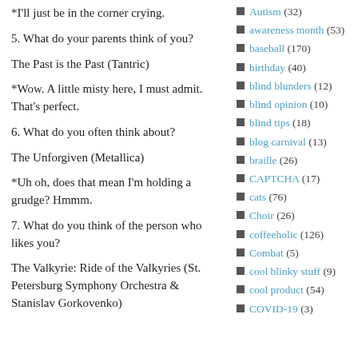*I'll just be in the corner crying.
5. What do your parents think of you?
The Past is the Past (Tantric)
*Wow. A little misty here, I must admit. That's perfect.
6. What do you often think about?
The Unforgiven (Metallica)
*Uh oh, does that mean I'm holding a grudge? Hmmm.
7. What do you think of the person who likes you?
The Valkyrie: Ride of the Valkyries (St. Petersburg Symphony Orchestra & Stanislav Gorkovenko)
Autism (32)
awareness month (53)
baseball (170)
birthday (40)
blind blunders (12)
blind opinion (10)
blind tips (18)
blog carnival (13)
braille (26)
CAPTCHA (17)
cats (76)
Choir (26)
coffeeholic (126)
Combat (5)
cool blinky stuff (9)
cool product (54)
COVID-19 (3)